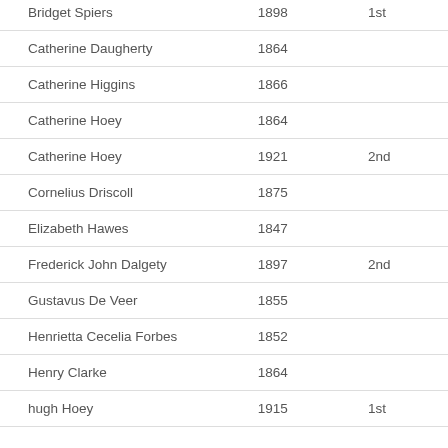| Bridget Spiers | 1898 | 1st |
| Catherine Daugherty | 1864 |  |
| Catherine Higgins | 1866 |  |
| Catherine Hoey | 1864 |  |
| Catherine Hoey | 1921 | 2nd |
| Cornelius Driscoll | 1875 |  |
| Elizabeth Hawes | 1847 |  |
| Frederick John Dalgety | 1897 | 2nd |
| Gustavus De Veer | 1855 |  |
| Henrietta Cecelia Forbes | 1852 |  |
| Henry Clarke | 1864 |  |
| hugh Hoey | 1915 | 1st |